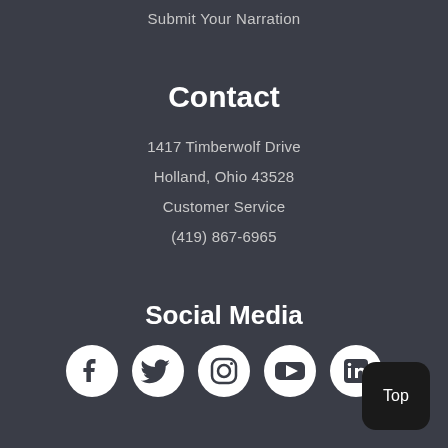Submit Your Narration
Contact
1417 Timberwolf Drive
Holland, Ohio 43528
Customer Service
(419) 867-6965
Social Media
[Figure (infographic): Row of five social media icons: Facebook, Twitter, Instagram, YouTube, LinkedIn]
Top